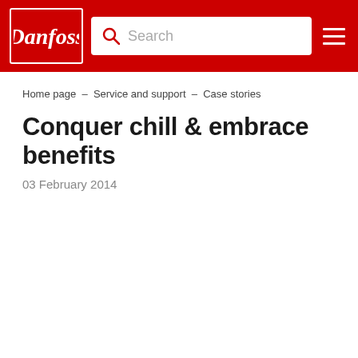Danfoss — Search — Navigation menu
Home page – Service and support – Case stories
Conquer chill & embrace benefits
03 February 2014